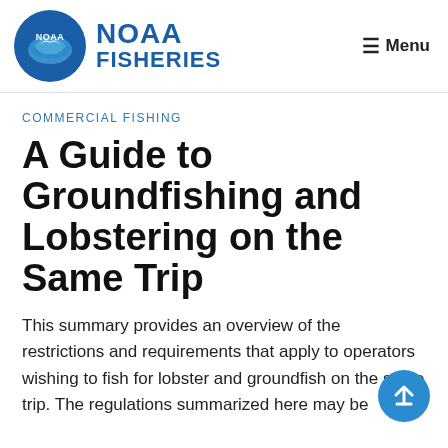NOAA FISHERIES | Menu
COMMERCIAL FISHING
A Guide to Groundfishing and Lobstering on the Same Trip
This summary provides an overview of the restrictions and requirements that apply to operators wishing to fish for lobster and groundfish on the same trip. The regulations summarized here may be